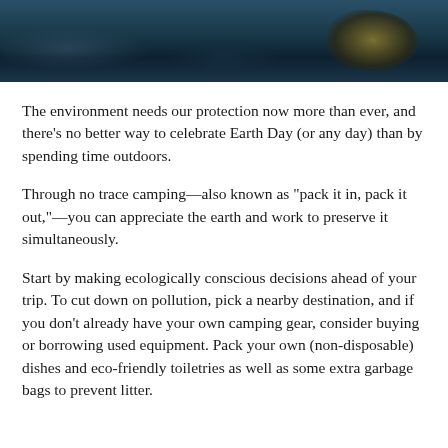[Figure (photo): Dark blue/teal outdoor scene banner image, partially visible, showing what appears to be camping gear or outdoor equipment against a dark background]
The environment needs our protection now more than ever, and there’s no better way to celebrate Earth Day (or any day) than by spending time outdoors.
Through no trace camping—also known as “pack it in, pack it out,”—you can appreciate the earth and work to preserve it simultaneously.
Start by making ecologically conscious decisions ahead of your trip. To cut down on pollution, pick a nearby destination, and if you don’t already have your own camping gear, consider buying or borrowing used equipment. Pack your own (non-disposable) dishes and eco-friendly toiletries as well as some extra garbage bags to prevent litter.